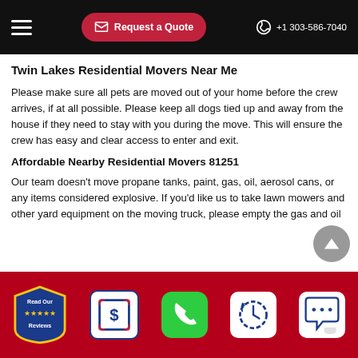Request a Quote   +1 303-586-7040
Twin Lakes Residential Movers Near Me
Please make sure all pets are moved out of your home before the crew arrives, if at all possible. Please keep all dogs tied up and away from the house if they need to stay with you during the move. This will ensure the crew has easy and clear access to enter and exit.
Affordable Nearby Residential Movers 81251
Our team doesn’t move propane tanks, paint, gas, oil, aerosol cans, or any items considered explosive. If you’d like us to take lawn mowers and other yard equipment on the moving truck, please empty the gas and oil
Read Our Reviews  [quote icon]  [phone icon]  [clock icon]  [chat icon]